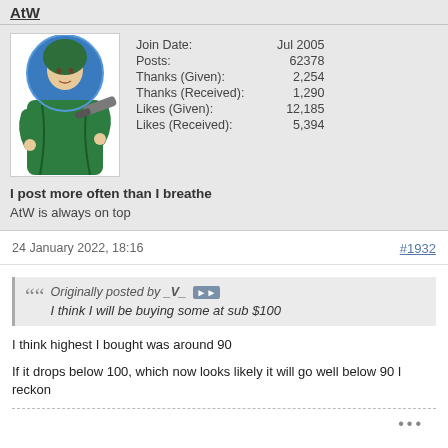AtW
[Figure (illustration): Avatar image of a medieval-style illustrated figure of a woman in green robes holding a rocket launcher, with a blue halo behind her head]
| Join Date: | Jul 2005 |
| Posts: | 62378 |
| Thanks (Given): | 2,254 |
| Thanks (Received): | 1,290 |
| Likes (Given): | 12,185 |
| Likes (Received): | 5,394 |
I post more often than I breathe
AtW is always on top
24 January 2022, 18:16
#1932
Originally posted by _V_
I think I will be buying some at sub $100
I think highest I bought was around 90
If it drops below 100, which now looks likely it will go well below 90 I reckon